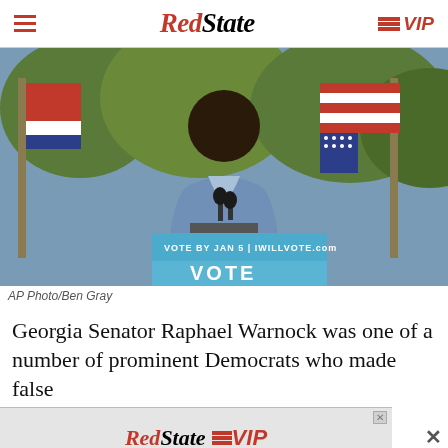RedState | VIP
[Figure (photo): Raphael Warnock speaking at an outdoor political event, smiling, wearing a grey-blue blazer, with American and Georgia state flags in the background and a podium sign reading 'VOTE BY JAN 5 | IWILLVOTE.COM']
AP Photo/Ben Gray
Georgia Senator Raphael Warnock was one of a number of prominent Democrats who made false
[Figure (advertisement): RedState VIP advertisement banner with red and black logo]
Warnock, along with failed 2018 Georgia Democratic